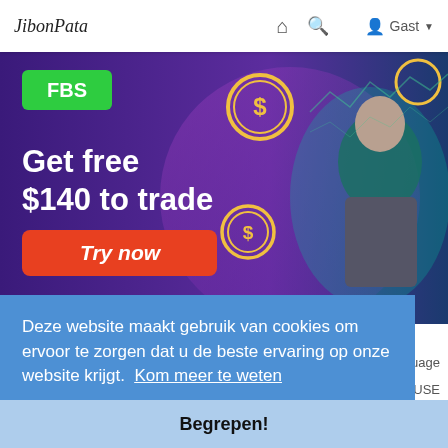JibonPata  🏠  🔍  👤 Gast ▾
[Figure (photo): FBS broker advertisement banner with dark purple/blue background. Shows a man in a suit with text 'Get free $140 to trade' and an orange 'Try now' button. Dollar sign coin graphics on the banner.]
Deze website maakt gebruik van cookies om ervoor te zorgen dat u de beste ervaring op onze website krijgt.  Kom meer te weten
language
OF USE
EER ▲
Begrepen!